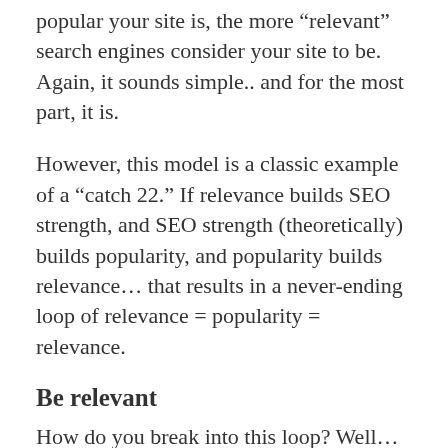popular your site is, the more “relevant” search engines consider your site to be. Again, it sounds simple.. and for the most part, it is.
However, this model is a classic example of a “catch 22.” If relevance builds SEO strength, and SEO strength (theoretically) builds popularity, and popularity builds relevance… that results in a never-ending loop of relevance = popularity = relevance.
Be relevant
How do you break into this loop? Well… be relevant! And be clear, accessible, and popular. So while there are 1001 SEO tips, tricks, and